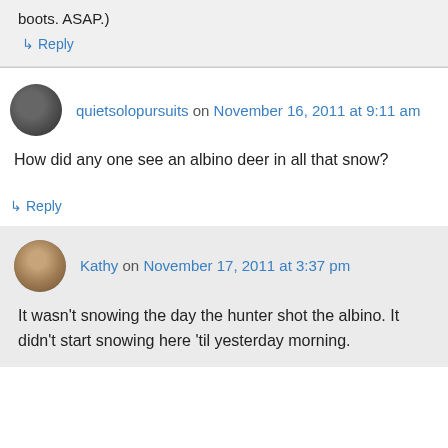boots. ASAP.)
↳ Reply
quietsolopursuits on November 16, 2011 at 9:11 am
How did any one see an albino deer in all that snow?
↳ Reply
Kathy on November 17, 2011 at 3:37 pm
It wasn't snowing the day the hunter shot the albino. It didn't start snowing here 'til yesterday morning.